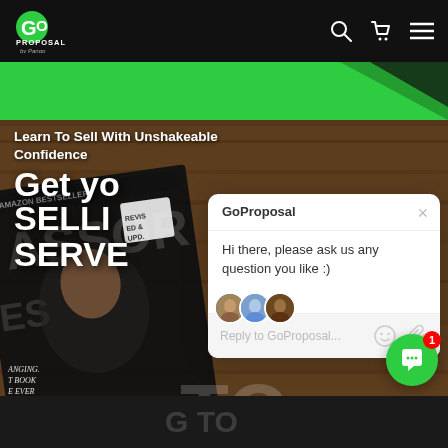[Figure (screenshot): GoProposal website navigation bar with logo, search icon, cart icon, and menu icon on black background]
[Figure (screenshot): Green decorative banner bar below navigation]
[Figure (screenshot): Hero section with book cover photo background showing a person and text: Learn To Sell With Unshakeable Confidence, GET YOUR SELLING SERVE, with partial bottom left quote text]
[Figure (screenshot): Chat popup widget with GoProposal branding, message: Hi there, please ask us any question you like :), reply input bar, and live chat button with badge of 1]